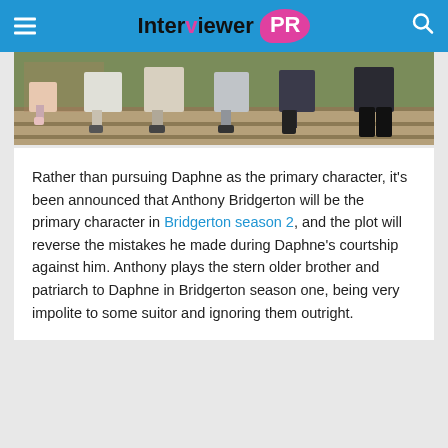Interviewer PR
[Figure (photo): Photo showing lower bodies and feet of several people standing on stone steps outside a building, wearing period/formal costumes including boots and dresses — likely a Bridgerton cast photo.]
Rather than pursuing Daphne as the primary character, it's been announced that Anthony Bridgerton will be the primary character in Bridgerton season 2, and the plot will reverse the mistakes he made during Daphne's courtship against him. Anthony plays the stern older brother and patriarch to Daphne in Bridgerton season one, being very impolite to some suitor and ignoring them outright.